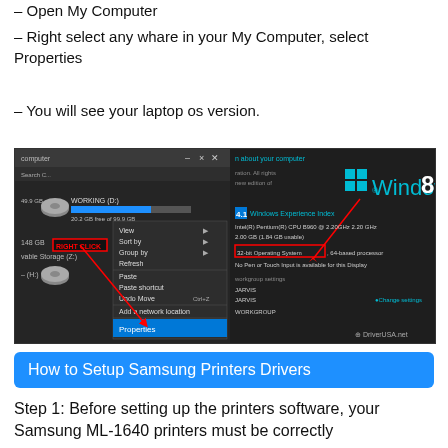– Open  My Computer
– Right select any whare in your My Computer, select Properties
– You will see your laptop os version.
[Figure (screenshot): Screenshot showing Windows 8 My Computer context menu with RIGHT CLICK label, right-click context menu with Properties highlighted, and Windows 8 system properties panel showing 32-bit Operating System. DriverUSA.net watermark visible.]
How to Setup Samsung Printers Drivers
Step 1: Before setting up the printers software, your Samsung ML-1640 printers must be correctly